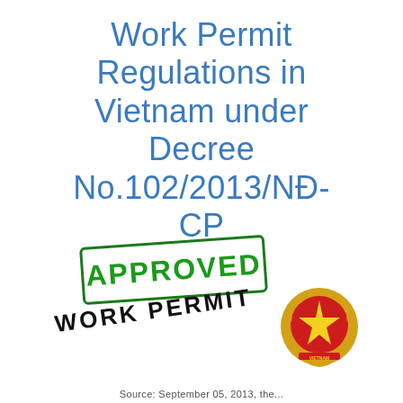Work Permit Regulations in Vietnam under Decree No.102/2013/NĐ-CP
[Figure (illustration): An 'APPROVED' rubber stamp in green with rectangular border, overlapping a 'WORK PERMIT' black diagonal text stamp, alongside a Vietnamese national emblem (gold circular emblem with red star and decorative elements)]
Source: September 05, 2013, the...